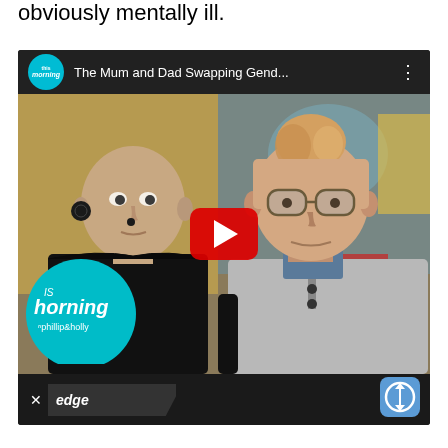obviously mentally ill.
[Figure (screenshot): A YouTube video thumbnail from 'This Morning' TV show titled 'The Mum and Dad Swapping Gend...' showing two people sitting on a sofa. The left person has a shaved head and wears black; the right person has short hair and glasses and wears a grey sweater. The video player has a red YouTube play button overlay, 'This Morning with phillip & holly' branding in teal circle on the bottom left, and an 'edge' watermark at the bottom. An app icon appears in the bottom right corner.]